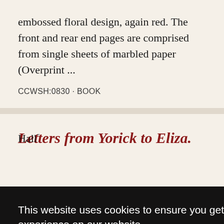embossed floral design, again red. The front and rear end pages are comprised from single sheets of marbled paper (Overprint ...
CCWSH:0830 · BOOK
Letters from Yorick to Eliza.
This website uses cookies to ensure you get the best experience on our website.
Learn more
Got it!
Hall"